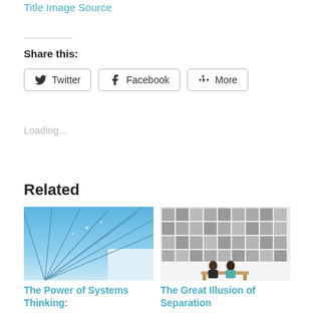Title Image Source
Share this:
Twitter
Facebook
More
Loading...
Related
[Figure (photo): Blue sky with radiating wires or cables converging toward a point]
The Power of Systems Thinking:
[Figure (photo): Two people sitting on a bench in front of a wall covered with a grid of black and white portrait photos]
The Great Illusion of Separation